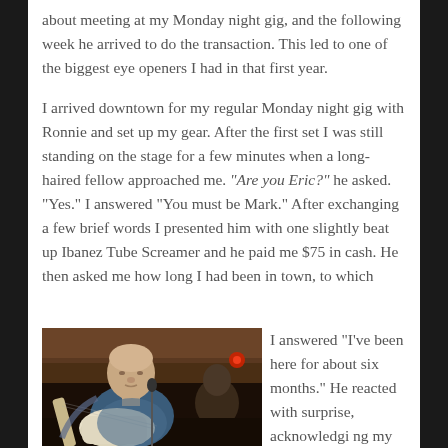about meeting at my Monday night gig, and the following week he arrived to do the transaction. This led to one of the biggest eye openers I had in that first year.
I arrived downtown for my regular Monday night gig with Ronnie and set up my gear. After the first set I was still standing on the stage for a few minutes when a long-haired fellow approached me. "Are you Eric?" he asked. "Yes." I answered "You must be Mark." After exchanging a few brief words I presented him with one slightly beat up Ibanez Tube Screamer and he paid me $75 in cash. He then asked me how long I had been in town, to which
[Figure (photo): A bald man in a blue t-shirt playing an electric guitar (appears to be a Telecaster-style guitar) on stage in a dimly lit venue. Another person is visible in the background.]
I answered "I've been here for about six months." He reacted with surprise, acknowledging my